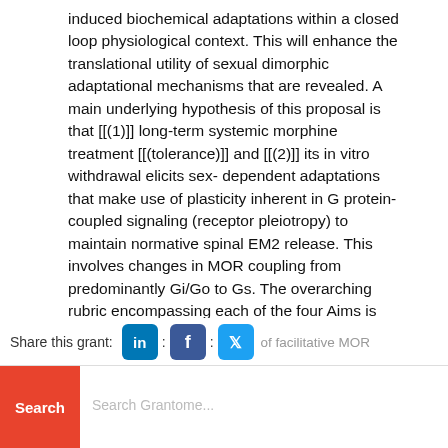induced biochemical adaptations within a closed loop physiological context. This will enhance the translational utility of sexual dimorphic adaptational mechanisms that are revealed. A main underlying hypothesis of this proposal is that [[(1)]] long-term systemic morphine treatment [[(tolerance)]] and [[(2)]] its in vitro withdrawal elicits sex- dependent adaptations that make use of plasticity inherent in G protein-coupled signaling (receptor pleiotropy) to maintain normative spinal EM2 release. This involves changes in MOR coupling from predominantly Gi/Go to Gs. The overarching rubric encompassing each of the four Aims is that MOR-coupled regulation of EM2 release exhibits physiological state-dependency, enabling the sensory MOR system to accommodate changing physiological demand.
Aims 1 and 2 will investigate, using selective in vivo G
Share this grant: [LinkedIn] : [Facebook] : [Twitter] of facilitative MOR signaling to spinal EM2 release during opioid withdrawal and tolerance, respectively.